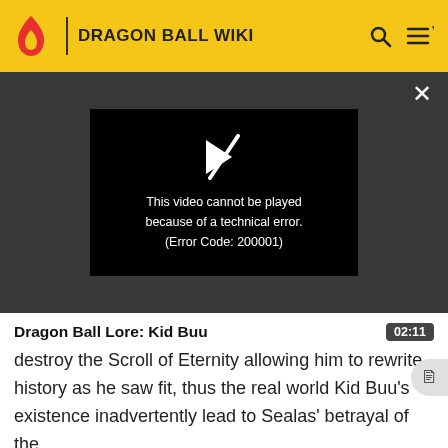DRAGON BALL WIKI
[Figure (screenshot): Video player showing error message: 'This video cannot be played because of a technical error. (Error Code: 200001)']
Dragon Ball Lore: Kid Buu
destroy the Scroll of Eternity allowing him to rewrite history as he saw fit, thus the real world Kid Buu's existence inadvertently lead to Sealas' betrayal of the